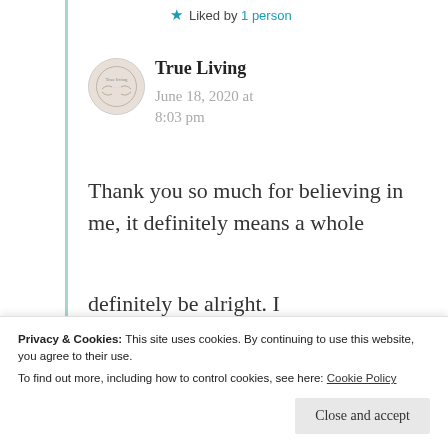★ Liked by 1 person
True Living
June 18, 2020 at 8:03 pm
Thank you so much for believing in me, it definitely means a whole lot to me. It will pass like... definitely be alright. I
Privacy & Cookies: This site uses cookies. By continuing to use this website, you agree to their use. To find out more, including how to control cookies, see here: Cookie Policy
Close and accept